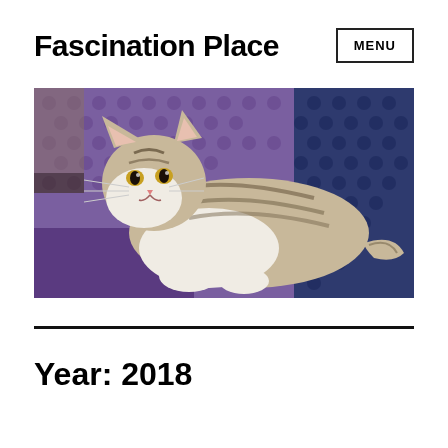Fascination Place
MENU
[Figure (photo): A tabby and white cat lying on a purple and blue crocheted blanket, looking toward the camera.]
Year: 2018